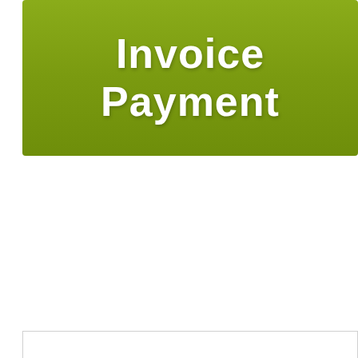Invoice Payment
[Figure (logo): Children's Hospital London Health Sciences Centre logo with a cartoon bear mascot in blue-grey color]
COVID-19 Novel Coronavirus